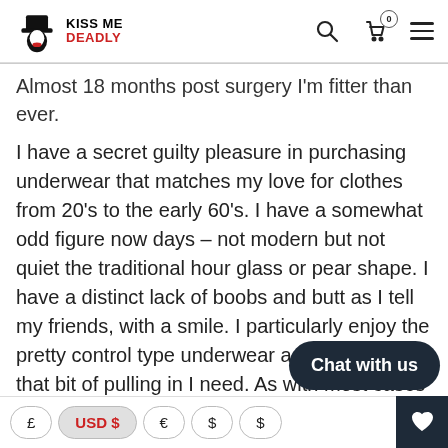Kiss Me Deadly — navigation bar with logo, search, cart (0), menu
Almost 18 months post surgery I'm fitter than ever.
I have a secret guilty pleasure in purchasing underwear that matches my love for clothes from 20's to the early 60's. I have a somewhat odd figure now days – not modern but not quiet the traditional hour glass or pear shape. I have a distinct lack of boobs and butt as I tell my friends, with a smile. I particularly enjoy the pretty control type underwear as it supplies that bit of pulling in I need. As with most cases of weight loss to my extent a second tightening of the stomach skin is often needed. However, it's not something I plan to do unless skin infections come along again. Frankly it hurts! A lot.... for weeks on end is the hardest thing
£  USD $  €  $  $  | Chat with us